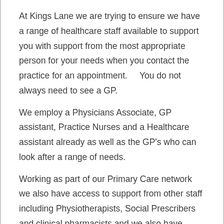At Kings Lane we are trying to ensure we have a range of healthcare staff available to support you with support from the most appropriate person for your needs when you contact the practice for an appointment.    You do not always need to see a GP.
We employ a Physicians Associate, GP assistant, Practice Nurses and a Healthcare assistant already as well as the GP's who can look after a range of needs.
Working as part of our Primary Care network we also have access to support from other staff including Physiotherapists, Social Prescribers and clinical pharmacists and we also have access to an acute home visiting service delivered by trained paramedics who will liaise with the GP if required.
Please also remember that a lot of issues that have just